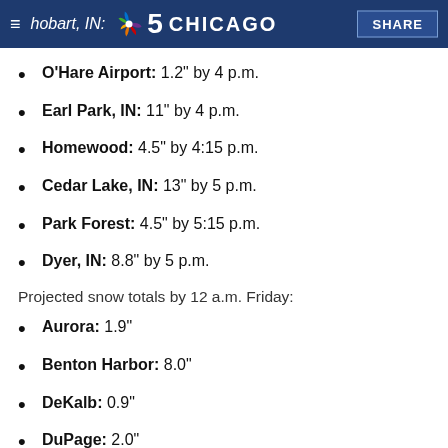≡ hobart, IN: NBC 5 CHICAGO | SHARE
O'Hare Airport: 1.2" by 4 p.m.
Earl Park, IN: 11" by 4 p.m.
Homewood: 4.5" by 4:15 p.m.
Cedar Lake, IN: 13" by 5 p.m.
Park Forest: 4.5" by 5:15 p.m.
Dyer, IN: 8.8" by 5 p.m.
Projected snow totals by 12 a.m. Friday:
Aurora: 1.9"
Benton Harbor: 8.0"
DeKalb: 0.9"
DuPage: 2.0"